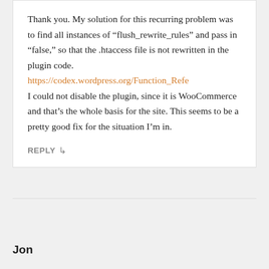Thank you. My solution for this recurring problem was to find all instances of “flush_rewrite_rules” and pass in “false,” so that the .htaccess file is not rewritten in the plugin code. https://codex.wordpress.org/Function_Refe I could not disable the plugin, since it is WooCommerce and that’s the whole basis for the site. This seems to be a pretty good fix for the situation I’m in.
Reply
Jon